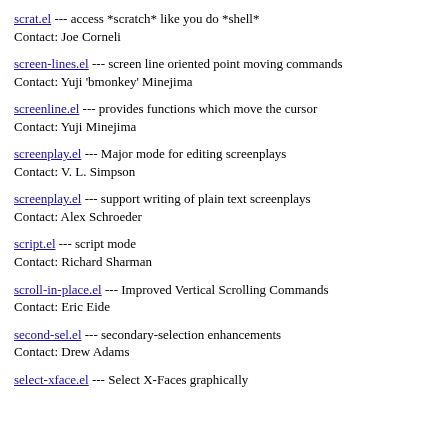scrat.el --- access *scratch* like you do *shell*
Contact: Joe Corneli
screen-lines.el --- screen line oriented point moving commands
Contact: Yuji 'bmonkey' Minejima
screenline.el --- provides functions which move the cursor
Contact: Yuji Minejima
screenplay.el --- Major mode for editing screenplays
Contact: V. L. Simpson
screenplay.el --- support writing of plain text screenplays
Contact: Alex Schroeder
script.el --- script mode
Contact: Richard Sharman
scroll-in-place.el --- Improved Vertical Scrolling Commands
Contact: Eric Eide
second-sel.el --- secondary-selection enhancements
Contact: Drew Adams
select-xface.el --- Select X-Faces graphically